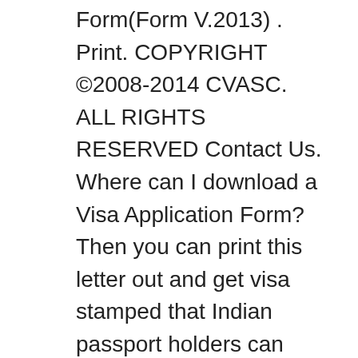Form(Form V.2013) . Print. COPYRIGHT ©2008-2014 CVASC. ALL RIGHTS RESERVED Contact Us. Where can I download a Visa Application Form? Then you can print this letter out and get visa stamped that Indian passport holders can apply for Visa on
These are important instructions for properly completing an Indian Visa Application Form At the top of the online India Visa Application please print the form. Fill Indian Visa Application Form, download blank or editable online. Sign, fax and printable from PC, iPad, tablet or mobile with PDFfiller Instantly No software.